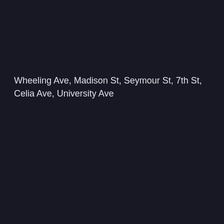Wheeling Ave, Madison St, Seymour St, 7th St, Celia Ave, University Ave